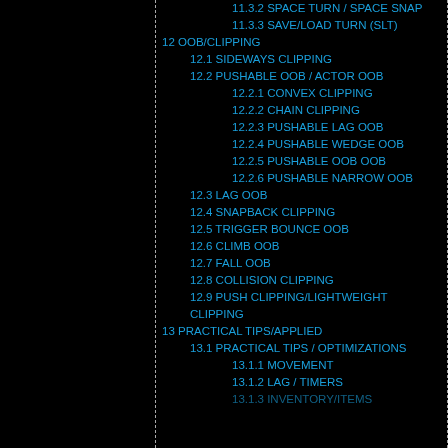11.3.2 SPACE TURN / SPACE SNAP
11.3.3 SAVE/LOAD TURN (SLT)
12 OOB/CLIPPING
12.1 SIDEWAYS CLIPPING
12.2 PUSHABLE OOB / ACTOR OOB
12.2.1 CONVEX CLIPPING
12.2.2 CHAIN CLIPPING
12.2.3 PUSHABLE LAG OOB
12.2.4 PUSHABLE WEDGE OOB
12.2.5 PUSHABLE OOB OOB
12.2.6 PUSHABLE NARROW OOB
12.3 LAG OOB
12.4 SNAPBACK CLIPPING
12.5 TRIGGER BOUNCE OOB
12.6 CLIMB OOB
12.7 FALL OOB
12.8 COLLISION CLIPPING
12.9 PUSH CLIPPING/LIGHTWEIGHT CLIPPING
13 PRACTICAL TIPS/APPLIED
13.1 PRACTICAL TIPS / OPTIMIZATIONS
13.1.1 MOVEMENT
13.1.2 LAG / TIMERS
13.1.3 INVENTORY/ITEMS